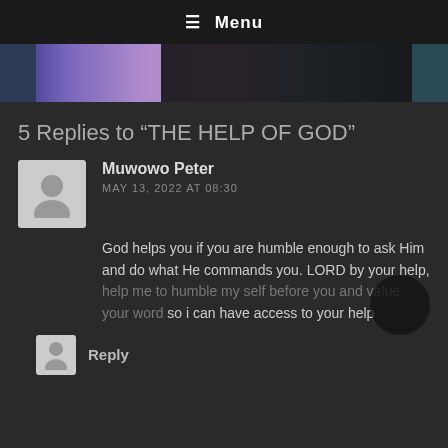≡ Menu
[Figure (photo): Partial banner image with colorful gradient (blue, pink, purple) and dark overlay bar]
5 Replies to “THE HELP OF GOD”
Muwowo Peter
MAY 13, 2022 AT 08:30
God helps you if you are humble enough to ask Him and do what He commands you. LORD by your help, help me to humble my self before you and value your word so i can have access to your help
Reply